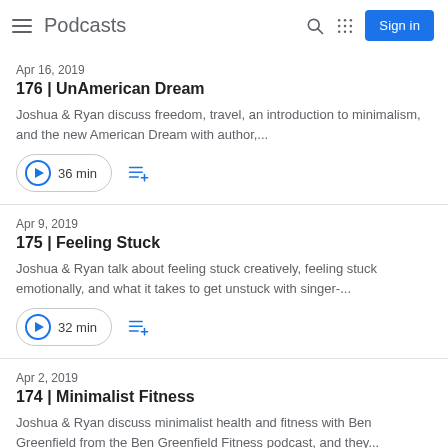Podcasts
Apr 16, 2019
176 | UnAmerican Dream
Joshua & Ryan discuss freedom, travel, an introduction to minimalism, and the new American Dream with author,...
36 min
Apr 9, 2019
175 | Feeling Stuck
Joshua & Ryan talk about feeling stuck creatively, feeling stuck emotionally, and what it takes to get unstuck with singer-...
32 min
Apr 2, 2019
174 | Minimalist Fitness
Joshua & Ryan discuss minimalist health and fitness with Ben Greenfield from the Ben Greenfield Fitness podcast, and they...